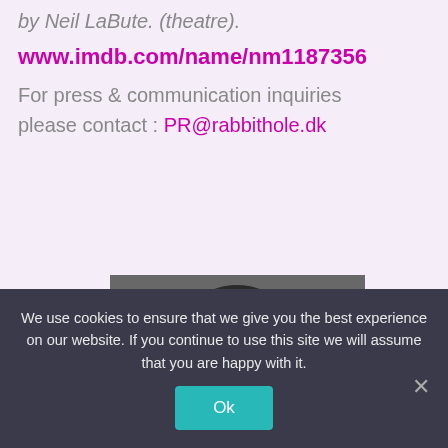by Neil LaBute. (theatre).
www.imdb.com/name/nm1187356
For press & communication inquiries please contact : PR@rabbithole.dk
[Figure (photo): Black and white close-up photo of the top of a person's head with styled hair against a dark grey background]
We use cookies to ensure that we give you the best experience on our website. If you continue to use this site we will assume that you are happy with it.